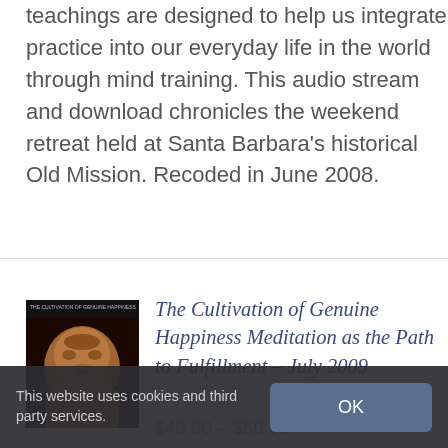teachings are designed to help us integrate practice into our everyday life in the world through mind training. This audio stream and download chronicles the weekend retreat held at Santa Barbara's historical Old Mission. Recoded in June 2008.
The Cultivation of Genuine Happiness Meditation as the Path to Fulfillment – July 2009
$40.00 – $50.00
This website uses cookies and third party services.